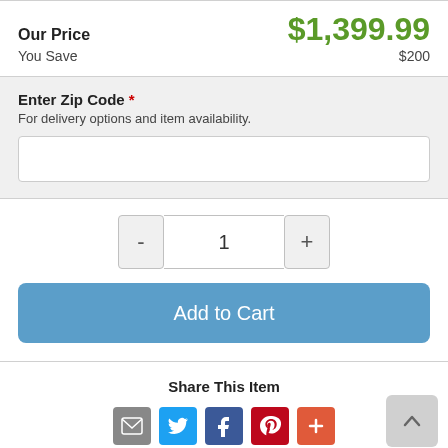Our Price  $1,399.99
You Save  $200
Enter Zip Code *
For delivery options and item availability.
- 1 +
Add to Cart
Share This Item